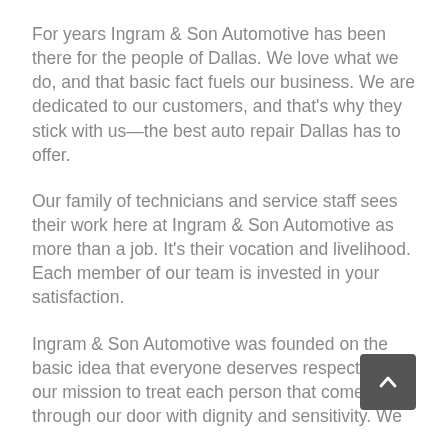For years Ingram & Son Automotive has been there for the people of Dallas. We love what we do, and that basic fact fuels our business. We are dedicated to our customers, and that's why they stick with us—the best auto repair Dallas has to offer.
Our family of technicians and service staff sees their work here at Ingram & Son Automotive as more than a job. It's their vocation and livelihood. Each member of our team is invested in your satisfaction.
Ingram & Son Automotive was founded on the basic idea that everyone deserves respect. It is our mission to treat each person that comes through our door with dignity and sensitivity. We